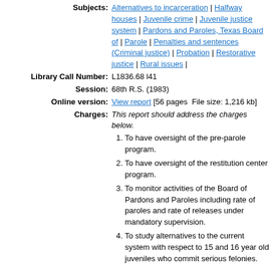Subjects: Alternatives to incarceration | Halfway houses | Juvenile crime | Juvenile justice system | Pardons and Paroles, Texas Board of | Parole | Penalties and sentences (Criminal justice) | Probation | Restorative justice | Rural issues |
Library Call Number: L1836.68 l41
Session: 68th R.S. (1983)
Online version: View report [56 pages  File size: 1,216 kb]
Charges: This report should address the charges below.
To have oversight of the pre-parole program.
To have oversight of the restitution center program.
To monitor activities of the Board of Pardons and Paroles including rate of paroles and rate of releases under mandatory supervision.
To study alternatives to the current system with respect to 15 and 16 year old juveniles who commit serious felonies.
To study judicial sentencing and advisory sentencing guidelines.